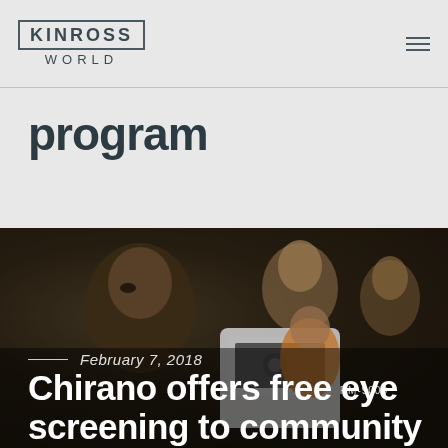KINROSS WORLD
program
[Figure (photo): A man undergoing an eye examination with medical equipment (RM-9000 device visible), with other people in the background in a clinical setting.]
February 7, 2018
Chirano offers free eye screening to community